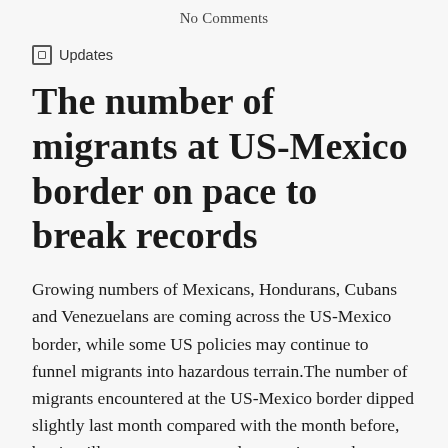No Comments
Updates
The number of migrants at US-Mexico border on pace to break records
Growing numbers of Mexicans, Hondurans, Cubans and Venezuelans are coming across the US-Mexico border, while some US policies may continue to funnel migrants into hazardous terrain.The number of migrants encountered at the US-Mexico border dipped slightly last month compared with the month before, but is still on pace to surpass last year's record-breaking totals, according to statistics released